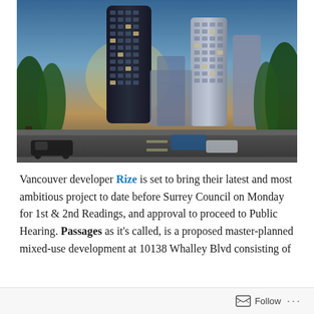[Figure (photo): Architectural rendering of the Passages development at 10138 Whalley Blvd in Surrey — two tall modern residential towers with glass facades flanking a tree-lined boulevard, cars on street, golden sunset light, lush green trees on both sides.]
Vancouver developer Rize is set to bring their latest and most ambitious project to date before Surrey Council on Monday for 1st & 2nd Readings, and approval to proceed to Public Hearing. Passages as it's called, is a proposed master-planned mixed-use development at 10138 Whalley Blvd consisting of
Follow ...